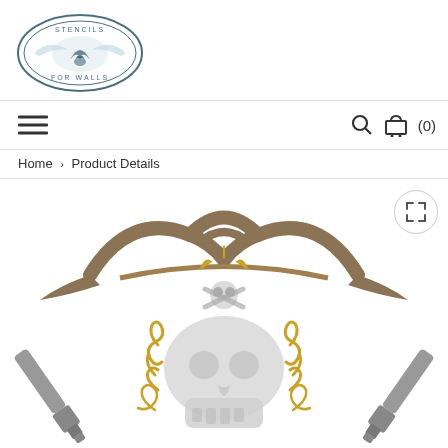[Figure (logo): Stencils For Walls oval logo with lotus flower]
[Figure (illustration): Navigation bar with hamburger menu icon on left and search/cart icons on right showing (0) items]
Home > Product Details
[Figure (photo): Pirate skull stencil design featuring a skull with crossbones, a pirate hat, crossed swords/cannons, and decorative flourishes in silver, gold, and brown colors on white background. An expand/fullscreen button appears in the top right corner.]